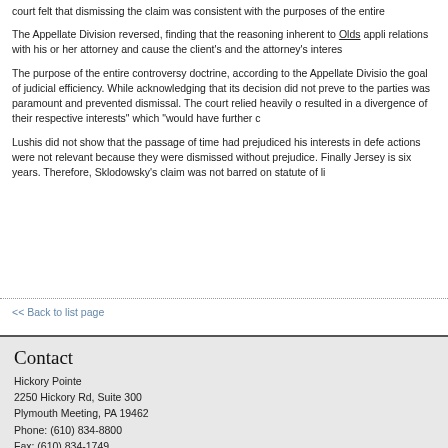court felt that dismissing the claim was consistent with the purposes of the entire
The Appellate Division reversed, finding that the reasoning inherent to Olds appli relations with his or her attorney and cause the client's and the attorney's interes
The purpose of the entire controversy doctrine, according to the Appellate Divisio the goal of judicial efficiency. While acknowledging that its decision did not preve to the parties was paramount and prevented dismissal. The court relied heavily o resulted in a divergence of their respective interests" which "would have further c
Lushis did not show that the passage of time had prejudiced his interests in defe actions were not relevant because they were dismissed without prejudice. Finally Jersey is six years. Therefore, Sklodowsky's claim was not barred on statute of li
<< Back to list page
Contact
Hickory Pointe
2250 Hickory Rd, Suite 300
Plymouth Meeting, PA 19462
Phone: (610) 834-8800
Fax: (610) 834-1749
info@obrlaw.com